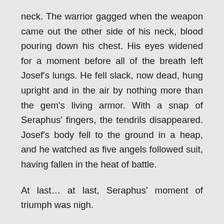neck. The warrior gagged when the weapon came out the other side of his neck, blood pouring down his chest. His eyes widened for a moment before all of the breath left Josef's lungs. He fell slack, now dead, hung upright and in the air by nothing more than the gem's living armor. With a snap of Seraphus' fingers, the tendrils disappeared. Josef's body fell to the ground in a heap, and he watched as five angels followed suit, having fallen in the heat of battle.
At last… at last, Seraphus' moment of triumph was nigh.
When the war was at its peak, Hermes found himself terribly overwhelmed. Grabbing Cassandra Federov, the blue-haired woman who had been The Chosen One's partner from the beginning, he had hidden behind one of the manyounting locations the other side had